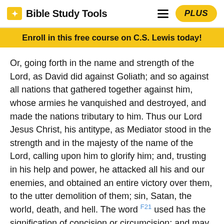Bible Study Tools
Enroll in this free course on C.S. Lewis today!
Or, going forth in the name and strength of the Lord, as David did against Goliath; and so against all nations that gathered together against him, whose armies he vanquished and destroyed, and made the nations tributary to him. Thus our Lord Jesus Christ, his antitype, as Mediator stood in the strength and in the majesty of the name of the Lord, calling upon him to glorify him; and, trusting in his help and power, he attacked all his and our enemies, and obtained an entire victory over them, to the utter demolition of them; sin, Satan, the world, death, and hell. The word F21 used has the signification of concision or circumcision; and may have a peculiar regard to the Jews, who boasted of their circumcision, and were the implacable